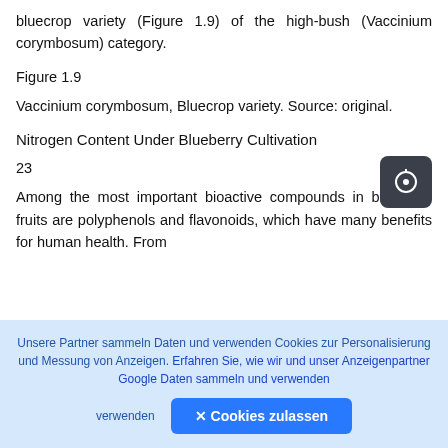bluecrop variety (Figure 1.9) of the high-bush (Vaccinium corymbosum) category.
Figure 1.9
Vaccinium corymbosum, Bluecrop variety. Source: original.
Nitrogen Content Under Blueberry Cultivation
23
Among the most important bioactive compounds in blueberry fruits are polyphenols and flavonoids, which have many benefits for human health. From
Unsere Partner sammeln Daten und verwenden Cookies zur Personalisierung und Messung von Anzeigen. Erfahren Sie, wie wir und unser Anzeigenpartner Google Daten sammeln und verwenden
✕ Cookies zulassen